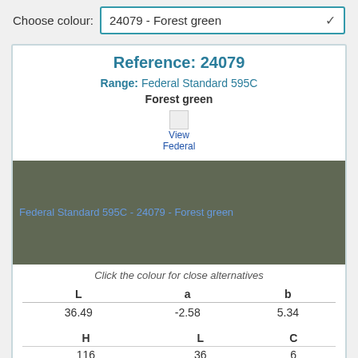Choose colour: 24079 - Forest green
Reference: 24079
Range: Federal Standard 595C
Forest green
[Figure (illustration): Broken image icon with link text 'View Federal...']
[Figure (photo): Color swatch showing Federal Standard 595C - 24079 - Forest green, a dark olive/forest green color]
Click the colour for close alternatives
| L | a | b |
| --- | --- | --- |
| 36.49 | -2.58 | 5.34 |
| H | L | C |
| --- | --- | --- |
| 116 | 36 | 6 |